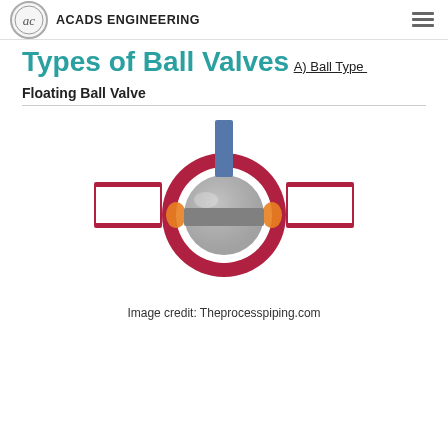ACADS ENGINEERING
Types of Ball Valves
A) Ball Type
Floating Ball Valve
[Figure (engineering-diagram): Cross-sectional diagram of a Floating Ball Valve showing a gray spherical ball at the center with a blue stem on top, surrounded by a dark red/crimson circular body with orange seat rings on left and right, and horizontal pipe connections extending left and right from the body.]
Image credit: Theprocesspiping.com